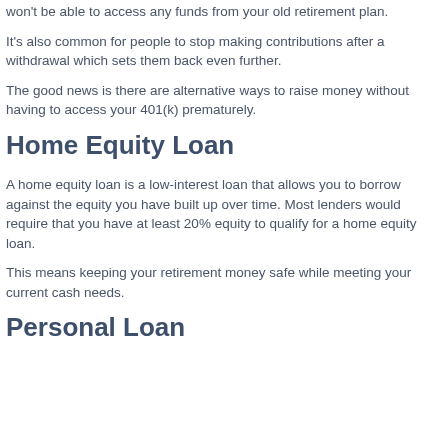won't be able to access any funds from your old retirement plan.
It's also common for people to stop making contributions after a withdrawal which sets them back even further.
The good news is there are alternative ways to raise money without having to access your 401(k) prematurely.
Home Equity Loan
A home equity loan is a low-interest loan that allows you to borrow against the equity you have built up over time. Most lenders would require that you have at least 20% equity to qualify for a home equity loan.
This means keeping your retirement money safe while meeting your current cash needs.
Personal Loan